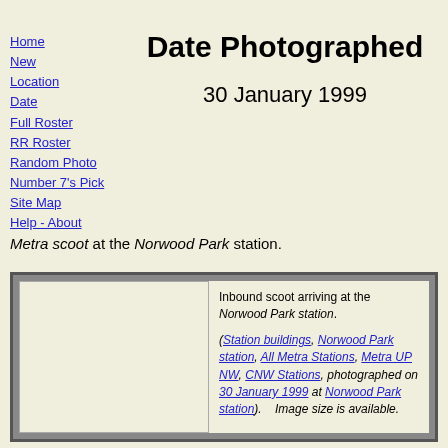Home
New
Location
Date
Full Roster
RR Roster
Random Photo
Number 7's Pick
Site Map
Help - About
Date Photographed
30 January 1999
Metra scoot at the Norwood Park station.
[Figure (photo): Photo cell placeholder — inbound scoot arriving at Norwood Park station]
Inbound scoot arriving at the Norwood Park station.

(Station buildings, Norwood Park station, All Metra Stations, Metra UP NW, CNW Stations, photographed on 30 January 1999 at Norwood Park station). Image size is available.